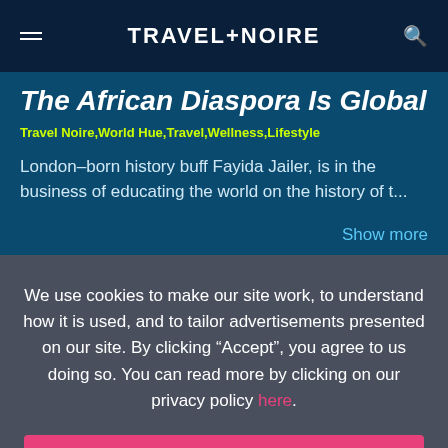TRAVEL+NOIRE
The African Diaspora Is Global
Travel Noire,World Hue,Travel,Wellness,Lifestyle
London-born history buff Fayida Jailer, is in the business of educating the world on the history of t...
Show more
We use cookies to make our site work, to understand how it is used, and to tailor advertisements presented on our site. By clicking “Accept”, you agree to us doing so. You can read more by clicking on our privacy policy here.
Accept